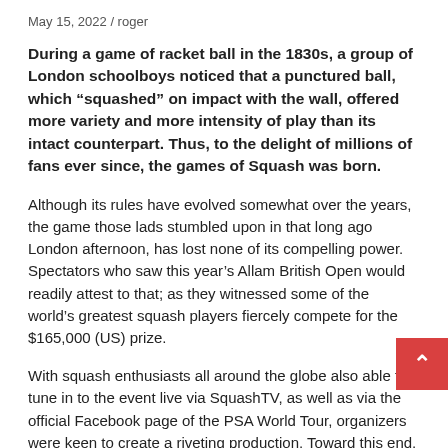May 15, 2022 / roger
During a game of racket ball in the 1830s, a group of London schoolboys noticed that a punctured ball, which “squashed” on impact with the wall, offered more variety and more intensity of play than its intact counterpart. Thus, to the delight of millions of fans ever since, the games of Squash was born.
Although its rules have evolved somewhat over the years, the game those lads stumbled upon in that long ago London afternoon, has lost none of its compelling power. Spectators who saw this year’s Allam British Open would readily attest to that; as they witnessed some of the world’s greatest squash players fiercely compete for the $165,000 (US) prize.
With squash enthusiasts all around the globe also able to tune in to the event live via SquashTV, as well as via the official Facebook page of the PSA World Tour, organizers were keen to create a riveting production. Toward this end, Firefly AV was brought on board to award the tournament with a sporty visual flair. Helping them in this